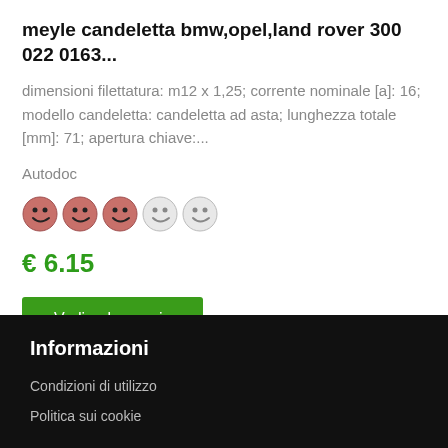meyle candeletta bmw,opel,land rover 300 022 0163...
dimensioni filettatura: m12 x 1,25; corrente nominale [a]: 16; modello candeletta: candeletta ad asta; lunghezza totale [mm]: 71; apertura chiave:...
Autodoc
[Figure (other): 3 filled smiley face rating icons and 2 empty smiley face rating icons, representing a 3 out of 5 star rating]
€ 6.15
Vedi nel negozio
Informazioni
Condizioni di utilizzo
Politica sui cookie